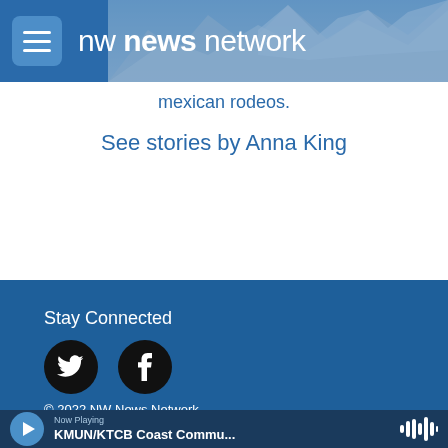nw news network
mexican rodeos.
See stories by Anna King
Stay Connected
[Figure (other): Twitter and Facebook social media icon buttons (black circles with white bird and f icons)]
© 2022 NW News Network
Now Playing KMUN/KTCB Coast Commu...